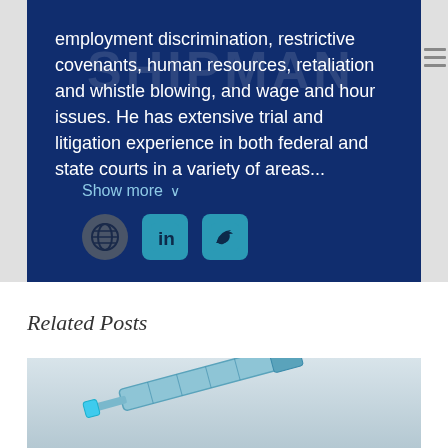employment discrimination, restrictive covenants, human resources, retaliation and whistle blowing, and wage and hour issues. He has extensive trial and litigation experience in both federal and state courts in a variety of areas...
Show more ∨
[Figure (other): Social media icons: globe/website icon (dark gray circle), LinkedIn icon (teal rounded square), Twitter bird icon (teal rounded square)]
Related Posts
[Figure (photo): Photo of a syringe/medical injection device with blue cap on a light gray background]